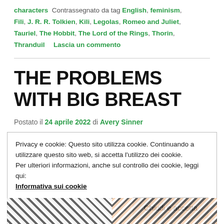characters  Contrassegnato da tag English, feminism, Fili, J. R. R. Tolkien, Kili, Legolas, Romeo and Juliet, Tauriel, The Hobbit, The Lord of the Rings, Thorin, Thranduil  Lascia un commento
THE PROBLEMS WITH BIG BREAST
Postato il 24 aprile 2022 di Avery Sinner
Privacy e cookie: Questo sito utilizza cookie. Continuando a utilizzare questo sito web, si accetta l’utilizzo dei cookie.
Per ulteriori informazioni, anche sul controllo dei cookie, leggi qui:
Informativa sui cookie
Chiudi e accetta
[Figure (illustration): Bottom strip showing partial comic-style images with black and white and skin-tone patterns]